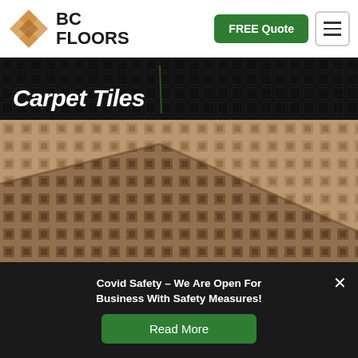[Figure (logo): BC Floors logo with diamond lattice icon and bold text BC FLOORS]
FREE Quote
[Figure (photo): Dark carpet tiles background photo with 'Carpet Tiles' title text overlay]
[Figure (photo): Close-up photo of beige/brown patterned carpet rolls with 'Stair Carpet' title text overlay]
Covid Safety – We Are Open For Business With Safety Measures!
Read More